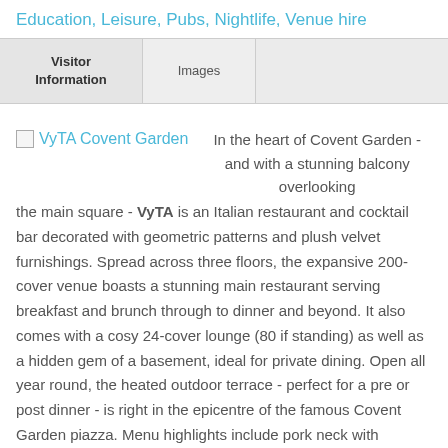Education, Leisure, Pubs, Nightlife, Venue hire
| Visitor Information | Images |
| --- | --- |
[Figure (logo): VyTA Covent Garden logo/image placeholder]
In the heart of Covent Garden - and with a stunning balcony overlooking the main square - VyTA is an Italian restaurant and cocktail bar decorated with geometric patterns and plush velvet furnishings. Spread across three floors, the expansive 200-cover venue boasts a stunning main restaurant serving breakfast and brunch through to dinner and beyond. It also comes with a cosy 24-cover lounge (80 if standing) as well as a hidden gem of a basement, ideal for private dining. Open all year round, the heated outdoor terrace - perfect for a pre or post dinner - is right in the epicentre of the famous Covent Garden piazza. Menu highlights include pork neck with roasted winter roots, risotto rosa - made with red beetroot - h omemade ravioli and